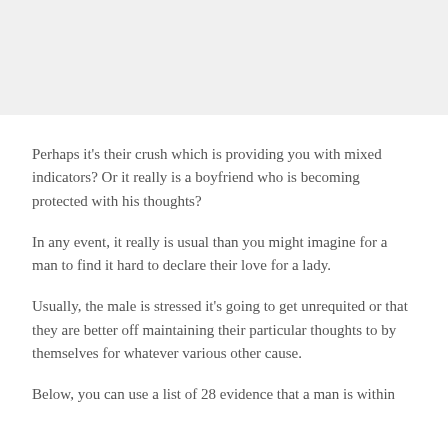Perhaps it's their crush which is providing you with mixed indicators? Or it really is a boyfriend who is becoming protected with his thoughts?
In any event, it really is usual than you might imagine for a man to find it hard to declare their love for a lady.
Usually, the male is stressed it's going to get unrequited or that they are better off maintaining their particular thoughts to by themselves for whatever various other cause.
Below, you can use a list of 28 evidence that a man is within